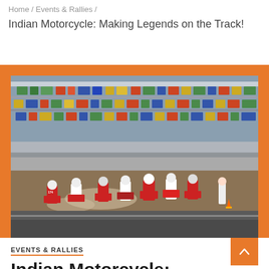Home / Events & Rallies /
Indian Motorcycle: Making Legends on the Track!
[Figure (photo): Motorcycle flat-track racing at a stadium. Multiple riders on dirt bikes racing on a dirt oval track with colorful grandstand seating in the background.]
EVENTS & RALLIES
Indian Motorcycle: